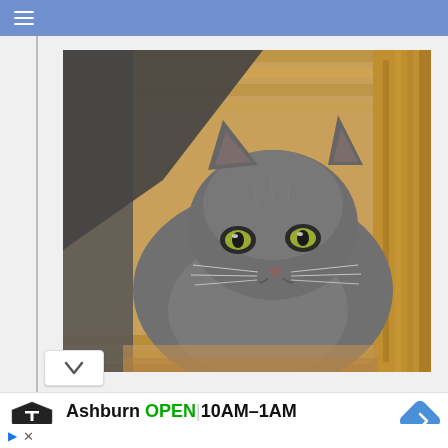[Figure (screenshot): Mobile browser top navigation bar with hamburger menu icon on blue background]
[Figure (photo): A gray/blue Russian Blue-type kitten with yellow-green eyes sitting inside a wicker basket, looking directly at camera]
[Figure (screenshot): Topgolf advertisement banner showing Ashburn location, OPEN status, hours 10AM-1AM, address 20356 Commonwealth Cen..., with navigation arrow icon]